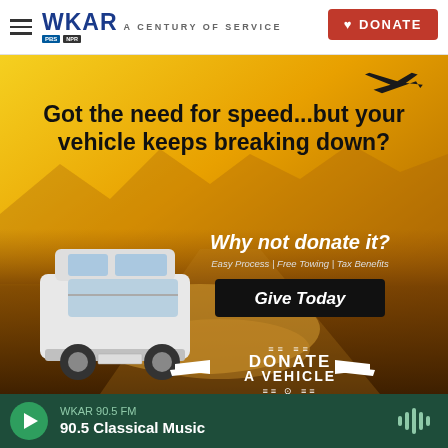WKAR A CENTURY OF SERVICE | DONATE
[Figure (illustration): Advertisement for Donate a Vehicle program showing a white van driving on a desert road with dust clouds, a jet airplane silhouette in the upper right, golden/brown desert landscape background. Text overlay: 'Got the need for speed...but your vehicle keeps breaking down? Why not donate it? Easy Process | Free Towing | Tax Benefits. Give Today. DONATE A VEHICLE']
WKAR 90.5 FM | 90.5 Classical Music